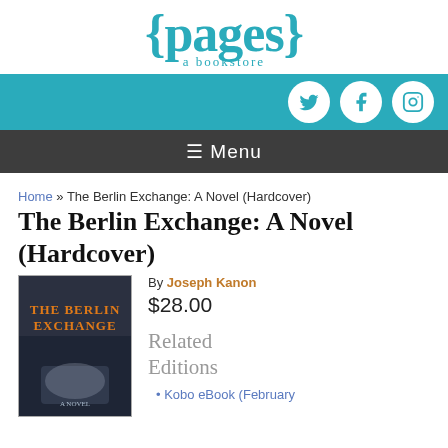[Figure (logo): {pages} a bookstore logo in teal/cyan color]
[Figure (infographic): Teal navigation bar with Twitter, Facebook, Instagram social icons (white circles)]
[Figure (screenshot): Dark gray menu bar with hamburger menu icon and 'Menu' text in white]
Home » The Berlin Exchange: A Novel (Hardcover)
The Berlin Exchange: A Novel (Hardcover)
[Figure (photo): Book cover of 'The Berlin Exchange' by Joseph Kanon showing a dark moody scene with a car and orange/gold title text]
By Joseph Kanon
$28.00
Related Editions
Kobo eBook (February